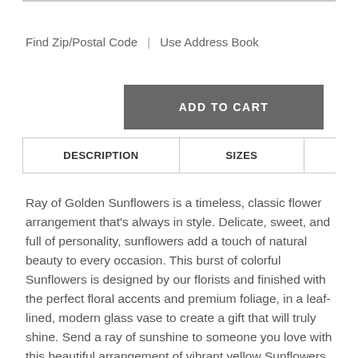Find Zip/Postal Code | Use Address Book
ADD TO CART
| DESCRIPTION | SIZES |  |
| --- | --- | --- |
Ray of Golden Sunflowers is a timeless, classic flower arrangement that's always in style. Delicate, sweet, and full of personality, sunflowers add a touch of natural beauty to every occasion. This burst of colorful Sunflowers is designed by our florists and finished with the perfect floral accents and premium foliage, in a leaf-lined, modern glass vase to create a gift that will truly shine. Send a ray of sunshine to someone you love with this beautiful arrangement of vibrant yellow Sunflowers. We specialize in local flower delivery and spreading cheer!